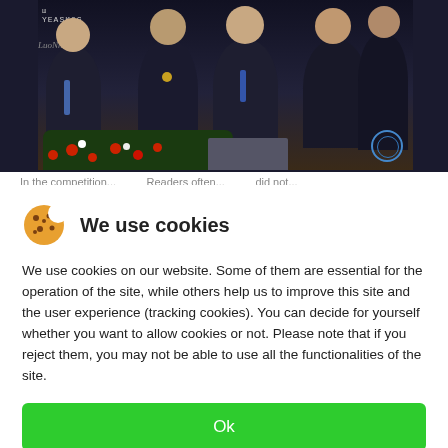[Figure (photo): Group photo of men in dark suits/blazers with medals and ties, posed at what appears to be an awards ceremony with red and white flowers in the foreground. A banner with 'YEASKOG' text is partially visible in the background.]
In the competition... Readers often... did not...
We use cookies
We use cookies on our website. Some of them are essential for the operation of the site, while others help us to improve this site and the user experience (tracking cookies). You can decide for yourself whether you want to allow cookies or not. Please note that if you reject them, you may not be able to use all the functionalities of the site.
Ok
Decline